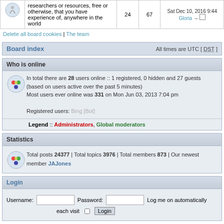|  | Description | Posts | Topics | Last post |
| --- | --- | --- | --- | --- |
| [icon] | researchers or resources, free or otherwise, that you have experience of, anywhere in the world | 24 | 67 | Sat Dec 10, 2016 9:44
Gloria →□ |
Delete all board cookies | The team
Board index   All times are UTC [ DST ]
Who is online
In total there are 28 users online :: 1 registered, 0 hidden and 27 guests (based on users active over the past 5 minutes)
Most users ever online was 331 on Mon Jun 03, 2013 7:04 pm

Registered users: Bing [Bot]
Legend :: Administrators, Global moderators
Statistics
Total posts 24377 | Total topics 3976 | Total members 873 | Our newest member JAJones
Login
Username: [input] Password: [input] Log me on automatically each visit [checkbox] Login
Unread posts   No unread posts   Forum locked
Powered by phpBB® Forum Software © phpBB Group